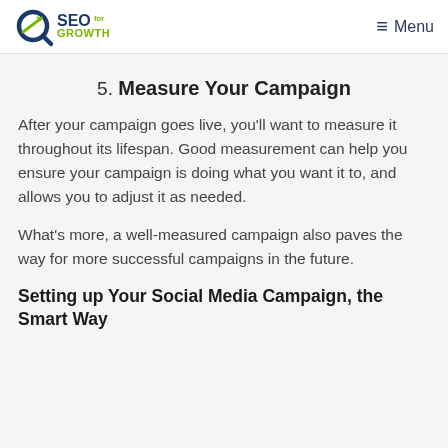SEO for GROWTH | Menu
5. Measure Your Campaign
After your campaign goes live, you'll want to measure it throughout its lifespan. Good measurement can help you ensure your campaign is doing what you want it to, and allows you to adjust it as needed.
What's more, a well-measured campaign also paves the way for more successful campaigns in the future.
Setting up Your Social Media Campaign, the Smart Way